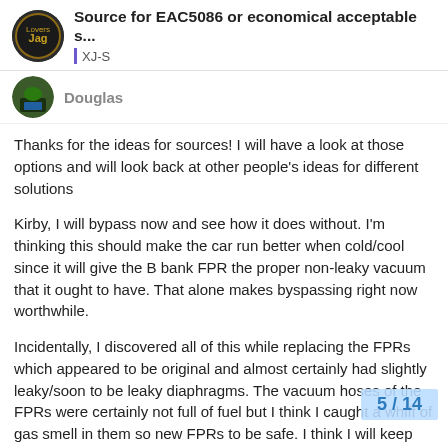Source for EAC5086 or economical acceptable s... XJ-S
Douglas
Thanks for the ideas for sources! I will have a look at those options and will look back at other people's ideas for different solutions
Kirby, I will bypass now and see how it does without. I'm thinking this should make the car run better when cold/cool since it will give the B bank FPR the proper non-leaky vacuum that it ought to have. That alone makes byspassing right now worthwhile.
Incidentally, I discovered all of this while replacing the FPRs which appeared to be original and almost certainly had slightly leaky/soon to be leaky diaphragms. The vacuum hoses of the FPRs were certainly not full of fuel but I think I caught a whiff of gas smell in them so new FPRs to be safe. I think I will keep the A bank FPR for now though after reading a number of old forum posts I now understand better why many p eliminate it.
5 / 14